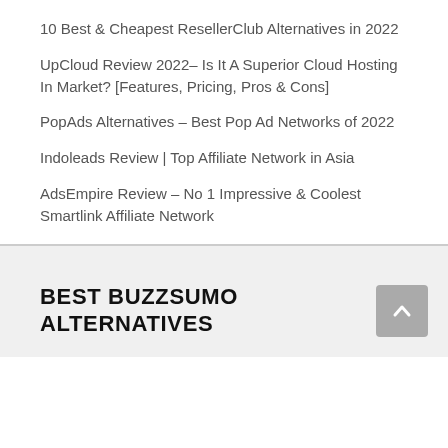10 Best & Cheapest ResellerClub Alternatives in 2022
UpCloud Review 2022– Is It A Superior Cloud Hosting In Market? [Features, Pricing, Pros & Cons]
PopAds Alternatives – Best Pop Ad Networks of 2022
Indoleads Review | Top Affiliate Network in Asia
AdsEmpire Review – No 1 Impressive & Coolest Smartlink Affiliate Network
BEST BUZZSUMO ALTERNATIVES